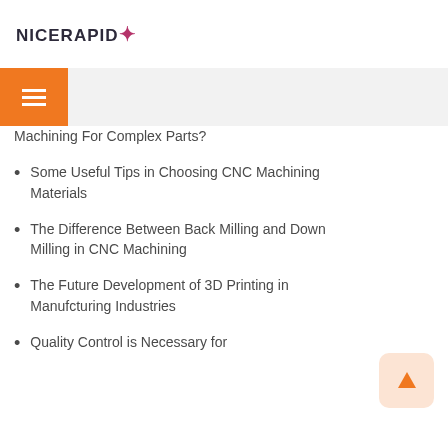NICERAPID
Machining For Complex Parts?
Some Useful Tips in Choosing CNC Machining Materials
The Difference Between Back Milling and Down Milling in CNC Machining
The Future Development of 3D Printing in Manufcturing Industries
Quality Control is Necessary for